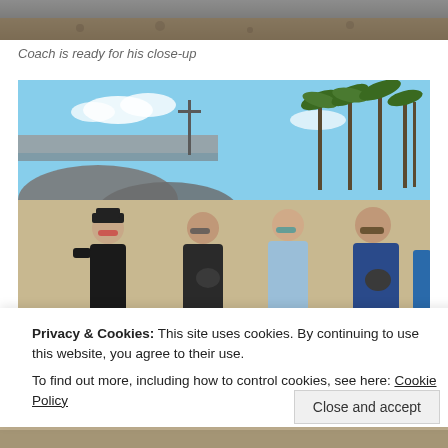[Figure (photo): Top portion of a photo, showing a sandy/rocky background, partially cropped at the top of the page.]
Coach is ready for his close-up
[Figure (photo): Four women standing together on a beach with palm trees in background. Two of them are holding small black and white dogs (Boston Terriers). One woman on the left wears a black hat and black t-shirt with a band logo. All are wearing sunglasses. The beach and blue sky are visible behind them.]
Privacy & Cookies: This site uses cookies. By continuing to use this website, you agree to their use.
To find out more, including how to control cookies, see here: Cookie Policy
Close and accept
[Figure (photo): Bottom portion of another photo, partially visible at the bottom of the page, showing sandy ground and partial figures.]